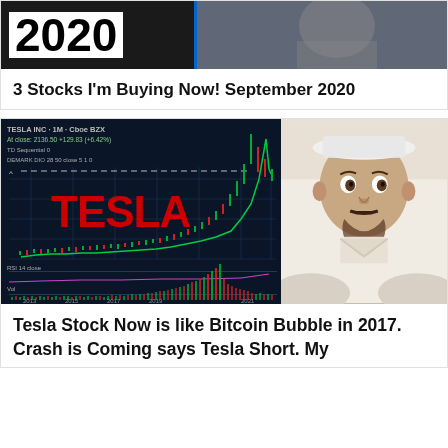[Figure (photo): Thumbnail image with bold year '2020' text on left dark background and person photo on right]
3 Stocks I'm Buying Now! September 2020
[Figure (screenshot): Tesla Inc stock chart (1M Cboe BZX) showing price history from 2013 to 2021 with large red TESLA text overlay and RSI/Volume indicators. At close: 2136.50 +129.83 (+6.42%). TD Sequential 0. DEMARK DIO 28 50 close 5 1 0. Chart shows dramatic price spike near 2021. Person with beard and white hat visible on right side.]
Tesla Stock Now is like Bitcoin Bubble in 2017. Crash is Coming says Tesla Short. My